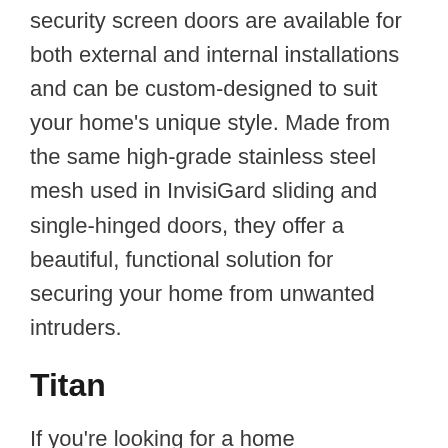security screen doors are available for both external and internal installations and can be custom-designed to suit your home's unique style. Made from the same high-grade stainless steel mesh used in InvisiGard sliding and single-hinged doors, they offer a beautiful, functional solution for securing your home from unwanted intruders.
Titan
If you're looking for a home improvement that's versatile and durable, consider a Titan home Screen Windows. These doors offer superior safety and security